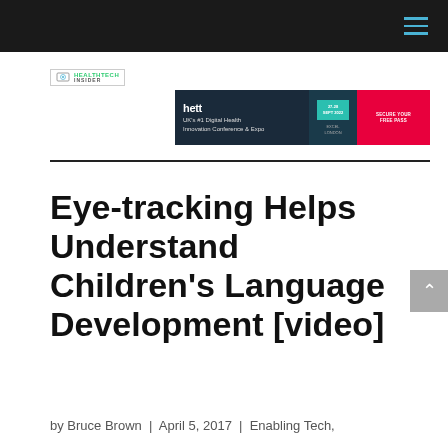Navigation bar with hamburger menu
[Figure (logo): HealthTech Insider logo with camera icon]
[Figure (infographic): HETT - UK's #1 Digital Health Innovation Conference & Expo banner advertisement with Secure Your Free Pass call to action]
Eye-tracking Helps Understand Children's Language Development [video]
by Bruce Brown | April 5, 2017 | Enabling Tech,